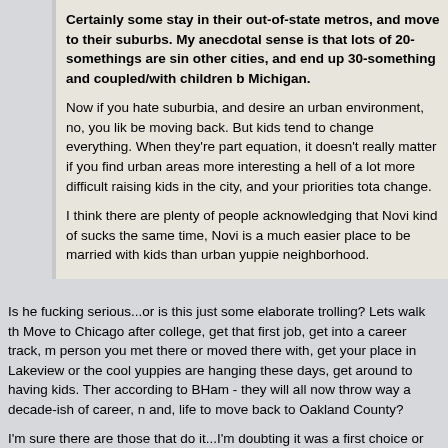Certainly some stay in their out-of-state metros, and move to their suburbs. My anecdotal sense is that lots of 20-somethings are in other cities, and end up 30-something and coupled/with children b Michigan.

Now if you hate suburbia, and desire an urban environment, no, you li be moving back. But kids tend to change everything. When they're par equation, it doesn't really matter if you find urban areas more interesting a hell of a lot more difficult raising kids in the city, and your priorities tota change.

I think there are plenty of people acknowledging that Novi kind of sucks the same time, Novi is a much easier place to be married with kids tha urban yuppie neighborhood.
Is he fucking serious...or is this just some elaborate trolling? Lets walk th Move to Chicago after college, get that first job, get into a career track, m person you met there or moved there with, get your place in Lakeview or the cool yuppies are hanging these days, get around to having kids. Ther according to BHam - they will all now throw way a decade-ish of career, n and, life to move back to Oakland County?
I'm sure there are those that do it...I'm doubting it was a first choice or pla